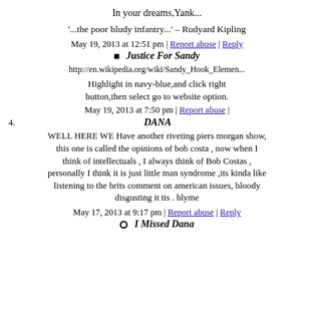In your dreams,Yank...
'...the poor bludy infantry...' – Rudyard Kipling
May 19, 2013 at 12:51 pm | Report abuse | Reply
Justice For Sandy
http://en.wikipedia.org/wiki/Sandy_Hook_Elemen...
Highlight in navy-blue,and click right button,then select go to website option.
May 19, 2013 at 7:50 pm | Report abuse |
4. DANA
WELL HERE WE Have another riveting piers morgan show, this one is called the opinions of bob costa , now when I think of intellectuals , I always think of Bob Costas , personally I think it is just little man syndrome ,its kinda like listening to the brits comment on american issues, bloody disgusting it tis . blyme
May 17, 2013 at 9:17 pm | Report abuse | Reply
I Missed Dana